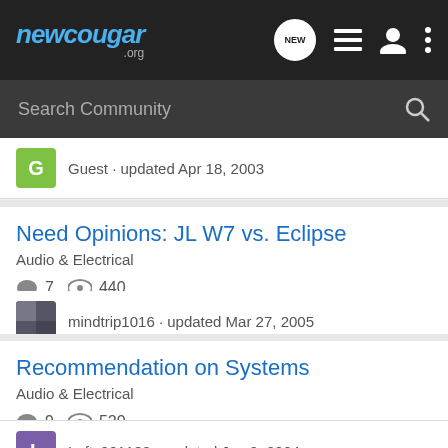newcougar.org – navigation bar with logo, NEW bubble, list icon, user icon, more icon
Search Community
Guest · updated Apr 18, 2003
Need Opinions: JL W7 vs. Eclipse
Audio & Electrical
7   440
mindtrip1016 · updated Mar 27, 2005
Recommendation on Systems
Audio & Electrical
9   520
Lefty061182 · updated Jun 9, 2004